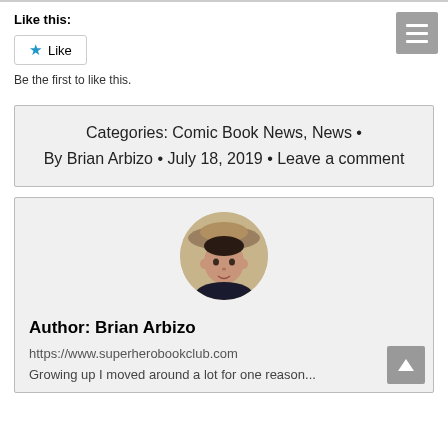Like this:
Like
Be the first to like this.
Categories: Comic Book News, News • By Brian Arbizo • July 18, 2019 • Leave a comment
[Figure (photo): Circular avatar photo of Brian Arbizo]
Author: Brian Arbizo
https://www.superherobookclub.com
Growing up I moved around a lot for one reason...